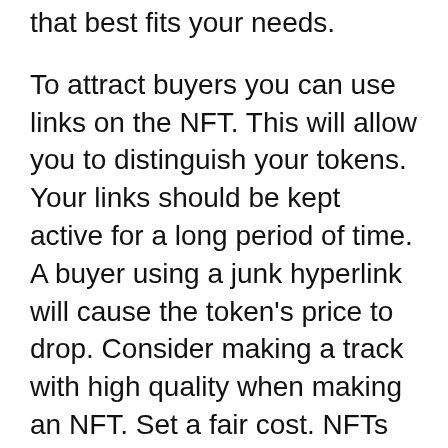that best fits your needs.
To attract buyers you can use links on the NFT. This will allow you to distinguish your tokens. Your links should be kept active for a long period of time. A buyer using a junk hyperlink will cause the token’s price to drop. Consider making a track with high quality when making an NFT. Set a fair cost. NFTs can be a great way to sell your music for beginners.
Tokenising your music means that you can sell it to people without the need to have a physical copy. The music itself is not a physical asset, so you can earn more money by selling it to different people. This will save you the hassle of dealing with middlemen.